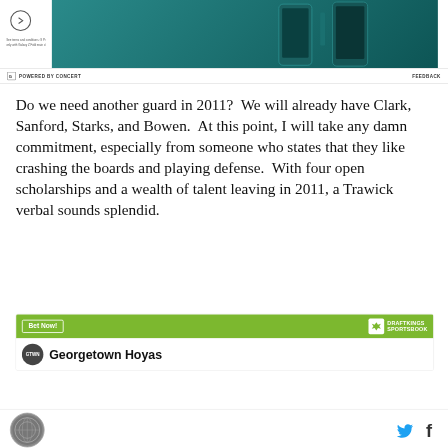[Figure (screenshot): Samsung Galaxy Z Fold advertisement banner with teal/dark green phone image on right and navigation arrow on left]
POWERED BY CONCERT   FEEDBACK
Do we need another guard in 2011?  We will already have Clark, Sanford, Starks, and Bowen.  At this point, I will take any damn commitment, especially from someone who states that they like crashing the boards and playing defense.  With four open scholarships and a wealth of talent leaving in 2011, a Trawick verbal sounds splendid.
[Figure (screenshot): DraftKings Sportsbook betting widget with green header showing Bet Now button and Georgetown Hoyas team row]
Georgetown Hoyas site logo, Twitter and Facebook social sharing icons